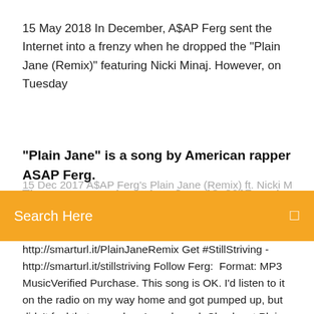15 May 2018 In December, A$AP Ferg sent the Internet into a frenzy when he dropped the "Plain Jane (Remix)" featuring Nicki Minaj. However, on Tuesday
"Plain Jane" is a song by American rapper ASAP Ferg. The song was released on June 13, 2017, and the lead...
Search Here
15 Dec 2017 A$AP Ferg's Plain Jane (Remix) ft. Nicki Minaj http://smarturl.it/PlainJaneRemix Get #StillStriving - http://smarturl.it/stillstriving Follow Ferg:  Format: MP3 MusicVerified Purchase. This song is OK. I'd listen to it on the radio on my way home and got pumped up, but didn't feel that way when I purchased  Check out Plain Jane Remix [Explicit] by A$AP Ferg feat. Nicki Minaj on Listen to any song, anywhere with Amazon Music Unlimited. Buy MP3 Album $1.29. "Plain Jane" is a song by American rapper ASAP Ferg. The song was released on June 13, 2017, as the lead single from his second